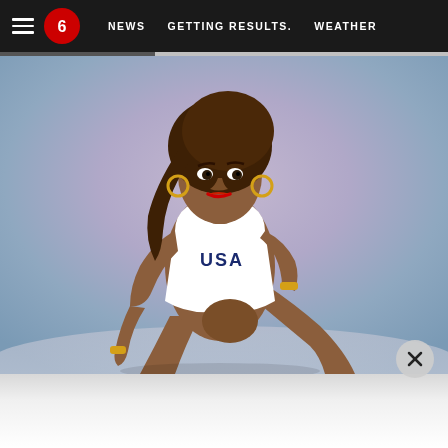≡  6  NEWS  GETTING RESULTS.  WEATHER
[Figure (photo): Female athlete in white USA athletic uniform crouched in a starting position on a light purple/lavender gradient background. She has large curly hair, hoop earrings, and red lipstick. The image is a professional studio-style photograph.]
[Figure (other): Close button (X) in a light gray circle in the lower-right area of the photo]